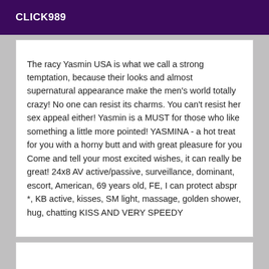CLICK989
The racy Yasmin USA is what we call a strong temptation, because their looks and almost supernatural appearance make the men's world totally crazy! No one can resist its charms. You can't resist her sex appeal either! Yasmin is a MUST for those who like something a little more pointed! YASMINA - a hot treat for you with a horny butt and with great pleasure for you Come and tell your most excited wishes, it can really be great! 24x8 AV active/passive, surveillance, dominant, escort, American, 69 years old, FE, I can protect abspr *, KB active, kisses, SM light, massage, golden shower, hug, chatting KISS AND VERY SPEEDY